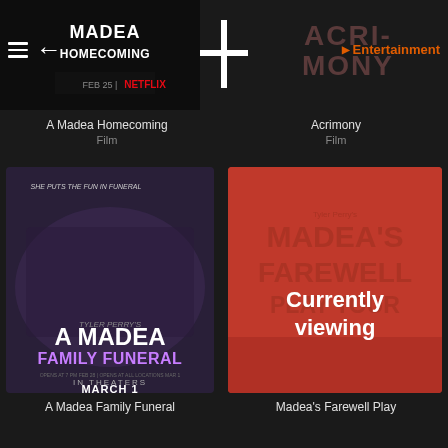[Figure (screenshot): App navigation bar with hamburger menu, back arrow, Madea Homecoming Netflix header on left, divider cross icon in center, and Entertainment label on right]
A Madea Homecoming
Film
Acrimony
Film
[Figure (photo): Movie poster for A Madea Family Funeral - group of people dressed in black with Tyler Perry's A Madea Family Funeral title and In Theaters March 1]
[Figure (photo): Movie poster for Madea's Farewell Play Tour with red background overlay and Currently viewing text]
A Madea Family Funeral
Madea's Farewell Play